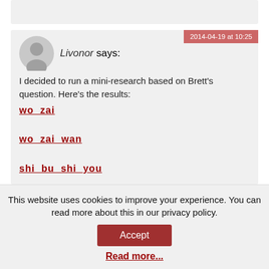2014-04-19 at 10:25
Livonor says:
I decided to run a mini-research based on Brett's question. Here's the results:
wo  zai
wo  zai  wan
shi  bu  shi  you
This website uses cookies to improve your experience. You can read more about this in our privacy policy.
Accept
Read more...